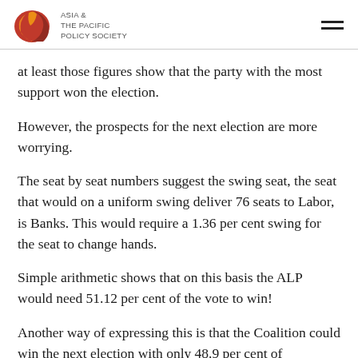ASIA & THE PACIFIC POLICY SOCIETY
at least those figures show that the party with the most support won the election.
However, the prospects for the next election are more worrying.
The seat by seat numbers suggest the swing seat, the seat that would on a uniform swing deliver 76 seats to Labor, is Banks. This would require a 1.36 per cent swing for the seat to change hands.
Simple arithmetic shows that on this basis the ALP would need 51.12 per cent of the vote to win!
Another way of expressing this is that the Coalition could win the next election with only 48.9 per cent of